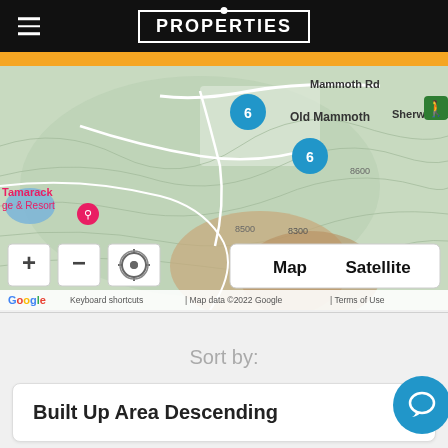PROPERTIES
[Figure (map): Google Maps view of Old Mammoth area near Sherwin Lakes Trailhead and Tamarack Lodge & Resort. Two blue cluster markers labeled '6' are visible. Map controls show +, -, and location buttons, plus Map/Satellite toggle. Google branding, keyboard shortcuts, and Map data ©2022 Google credits shown.]
Sort by:
Built Up Area Descending